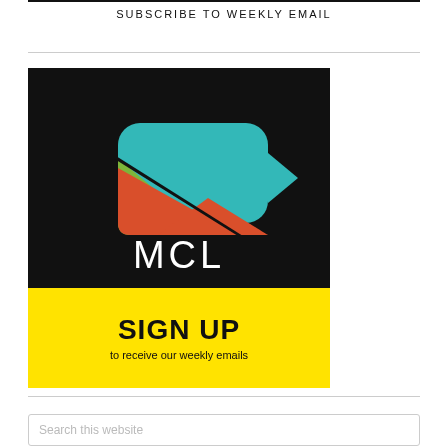SUBSCRIBE TO WEEKLY EMAIL
[Figure (logo): MCL video camera logo on black background with colorful geometric shapes (green, teal, red/orange), with text 'MCL' in white below. Yellow banner below logo with 'SIGN UP' in bold black and 'to receive our weekly emails' in smaller black text.]
Search this website